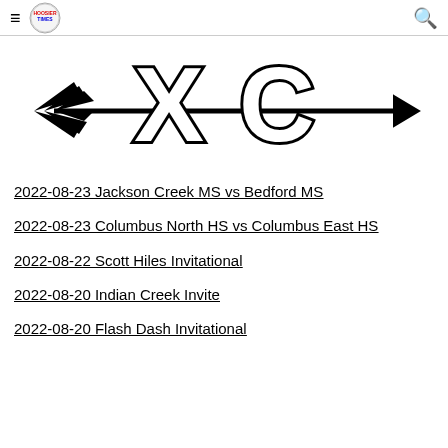≡ [logo] [search]
[Figure (logo): XC cross country arrow logo — stylized letters XC with an arrow through them, bold black on white]
2022-08-23 Jackson Creek MS vs Bedford MS
2022-08-23 Columbus North HS vs Columbus East HS
2022-08-22 Scott Hiles Invitational
2022-08-20 Indian Creek Invite
2022-08-20 Flash Dash Invitational